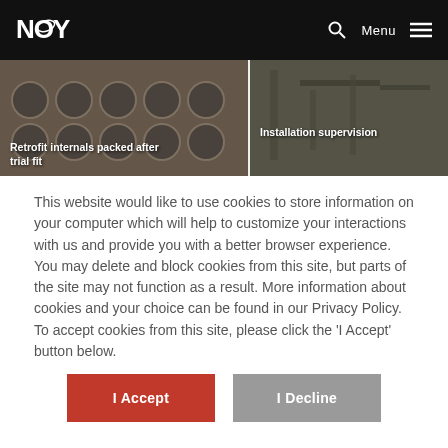NOY | Menu
[Figure (photo): Two industrial photos side by side: left shows retrofit internals (metal tubes/cylinders) packed after trial fit; right shows installation supervision in an industrial setting]
Retrofit internals packed after trial fit
Installation supervision
This website would like to use cookies to store information on your computer which will help to customize your interactions with us and provide you with a better browser experience. You may delete and block cookies from this site, but parts of the site may not function as a result. More information about cookies and your choice can be found in our Privacy Policy. To accept cookies from this site, please click the ‘I Accept’ button below.
I Accept
I Decline